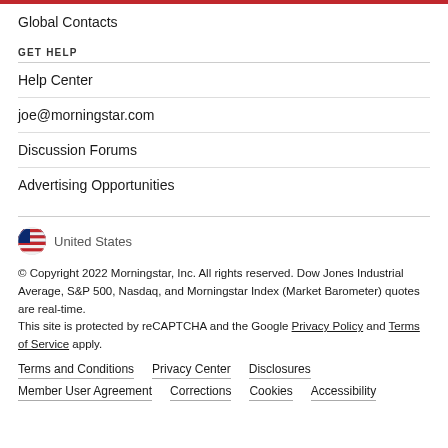Global Contacts
GET HELP
Help Center
joe@morningstar.com
Discussion Forums
Advertising Opportunities
United States
© Copyright 2022 Morningstar, Inc. All rights reserved. Dow Jones Industrial Average, S&P 500, Nasdaq, and Morningstar Index (Market Barometer) quotes are real-time.
This site is protected by reCAPTCHA and the Google Privacy Policy and Terms of Service apply.
Terms and Conditions  Privacy Center  Disclosures  Member User Agreement  Corrections  Cookies  Accessibility